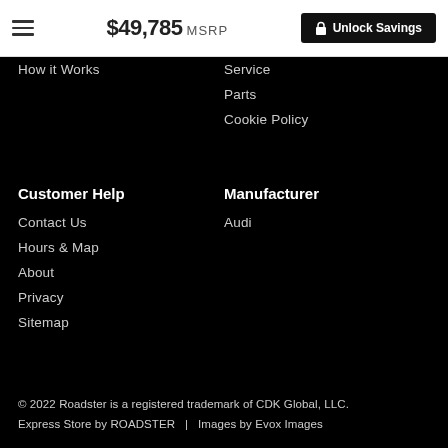$49,785 MSRP | Unlock Savings
How it Works
Service
Parts
Cookie Policy
Customer Help
Manufacturer
Contact Us
Audi
Hours & Map
About
Privacy
Sitemap
© 2022 Roadster is a registered trademark of CDK Global, LLC. Express Store by ROADSTER   |   Images by Evox Images